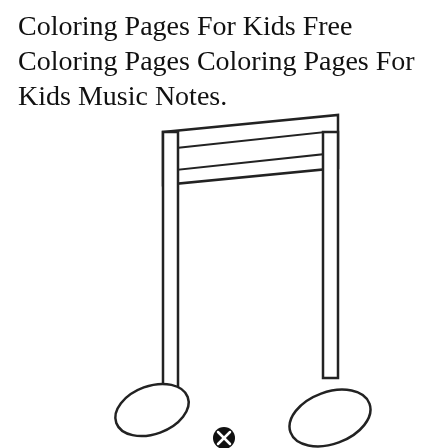Coloring Pages For Kids Free Coloring Pages Coloring Pages For Kids Music Notes.
[Figure (illustration): A coloring page outline illustration of a double music note (beamed eighth notes) with two oval note heads and two vertical stems connected by a beam at the top, on a white background. A small black circle with an X (close/delete icon) appears at the bottom center.]